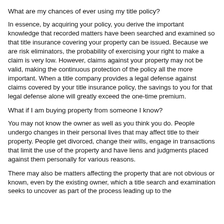What are my chances of ever using my title policy?
In essence, by acquiring your policy, you derive the important knowledge that recorded matters have been searched and examined so that title insurance covering your property can be issued. Because we are risk eliminators, the probability of exercising your right to make a claim is very low. However, claims against your property may not be valid, making the continuous protection of the policy all the more important. When a title company provides a legal defense against claims covered by your title insurance policy, the savings to you for that legal defense alone will greatly exceed the one-time premium.
What if I am buying property from someone I know?
You may not know the owner as well as you think you do. People undergo changes in their personal lives that may affect title to their property. People get divorced, change their wills, engage in transactions that limit the use of the property and have liens and judgments placed against them personally for various reasons.
There may also be matters affecting the property that are not obvious or known, even by the existing owner, which a title search and examination seeks to uncover as part of the process leading up to the